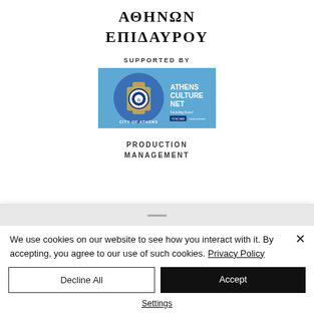ΑΘΗΝΩΝ ΕΠΙΔΑΥΡΟΥ
SUPPORTED BY
[Figure (logo): Athens Culture Net logo with City of Athens emblem on blue background, featuring a cross/medal symbol and text 'ATHENS CULTURE NET', 'Founding Donor']
PRODUCTION MANAGEMENT
We use cookies on our website to see how you interact with it. By accepting, you agree to our use of such cookies. Privacy Policy
Decline All
Accept
Settings